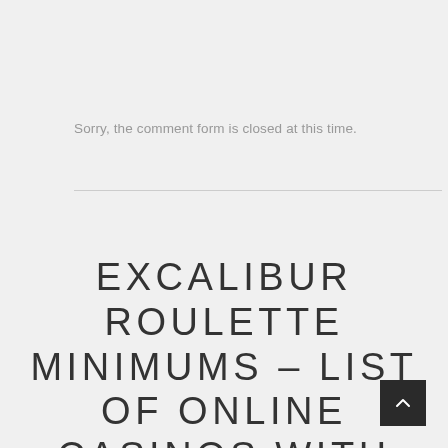Sorry, the comment form is closed at this time.
EXCALIBUR ROULETTE MINIMUMS – LIST OF ONLINE CASINOS WITH BONUSES AND